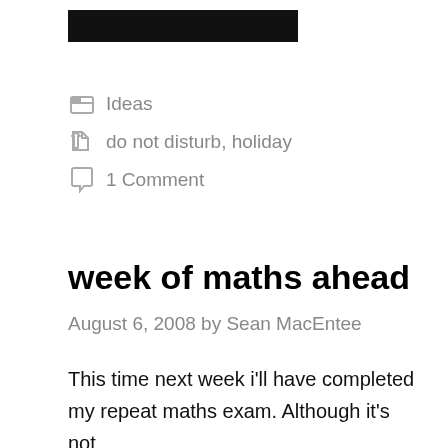[Figure (other): Black header bar/banner image at the top of the page]
Ideas
do not disturb, holiday
1 Comment
week of maths ahead
August 6, 2008 by Sean MacEntee
This time next week i'll have completed my repeat maths exam. Although it's not